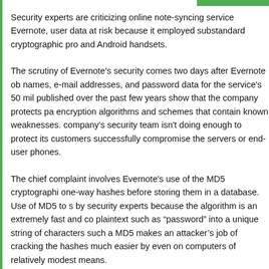Security experts are criticizing online note-syncing service Evernote, user data at risk because it employed substandard cryptographic pro and Android handsets.
The scrutiny of Evernote's security comes two days after Evernote ob names, e-mail addresses, and password data for the service's 50 mi published over the past few years show that the company protects pa encryption algorithms and schemes that contain known weaknesses. company's security team isn't doing enough to protect its customers successfully compromise the servers or end-user phones.
The chief complaint involves Evernote's use of the MD5 cryptographi one-way hashes before storing them in a database. Use of MD5 to s by security experts because the algorithm is an extremely fast and co plaintext such as "password" into a unique string of characters such a MD5 makes an attacker's job of cracking the hashes much easier by even on computers of relatively modest means.
By comparison, the use of slow algorithms such as bcrypt, which Twi